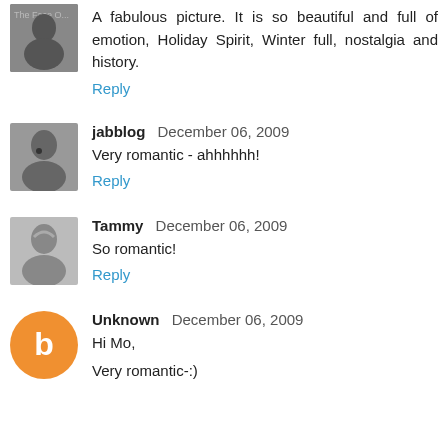A fabulous picture. It is so beautiful and full of emotion, Holiday Spirit, Winter full, nostalgia and history.
Reply
jabblog  December 06, 2009
Very romantic - ahhhhhh!
Reply
Tammy  December 06, 2009
So romantic!
Reply
Unknown  December 06, 2009
Hi Mo,
Very romantic-:)